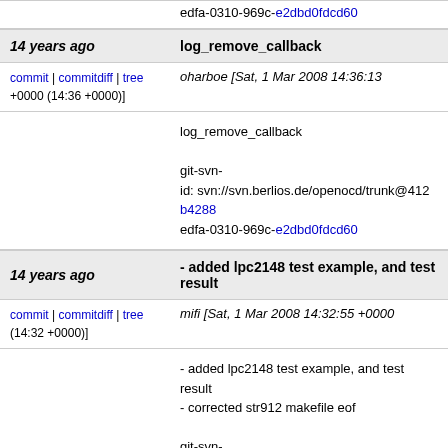edfa-0310-969c-e2dbd0fdcd60
14 years ago | log_remove_callback
commit | commitdiff | tree oharboe [Sat, 1 Mar 2008 14:36:13 +0000 (14:36 +0000)]
log_remove_callback

git-svn-id: svn://svn.berlios.de/openocd/trunk@412 b4288edfa-0310-969c-e2dbd0fdcd60
14 years ago | - added lpc2148 test example, and test result
commit | commitdiff | tree mifi [Sat, 1 Mar 2008 14:32:55 +0000 (14:32 +0000)]
- added lpc2148 test example, and test result
- corrected str912 makefile eof

git-svn-id: svn://svn.berlios.de/openocd/trunk@411 b4288edfa-0310-969c-e2dbd0fdcd60
14 years ago | - added str912 test example, and test result